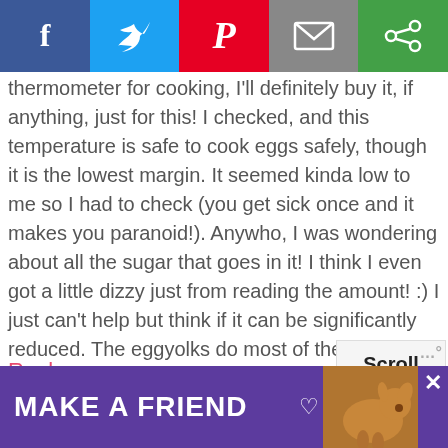[Figure (infographic): Social share bar with Facebook (blue), Twitter (light blue), Pinterest (red), Email (grey), and another (green) icon buttons]
thermometer for cooking, I'll definitely buy it, if anything, just for this! I checked, and this temperature is safe to cook eggs safely, though it is the lowest margin. It seemed kinda low to me so I had to check (you get sick once and it makes you paranoid!). Anywho, I was wondering about all the sugar that goes in it! I think I even got a little dizzy just from reading the amount! :) I just can't help but think if it can be significantly reduced. The eggyolks do most of the thickening, plus it's not too bad if it's a bit runnier. Have you ever tried making it with honey or maple syrup, perhaps even in modest amounts?
Reply
[Figure (infographic): Scroll to top button box]
[Figure (infographic): Advertisement banner: MAKE A FRIEND with dog image and heart icons]